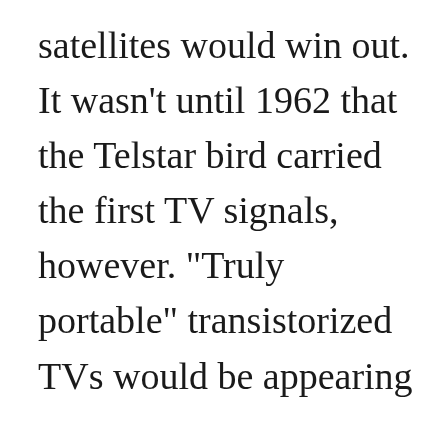satellites would win out. It wasn't until 1962 that the Telstar bird carried the first TV signals, however. "Truly portable" transistorized TVs would be appearing